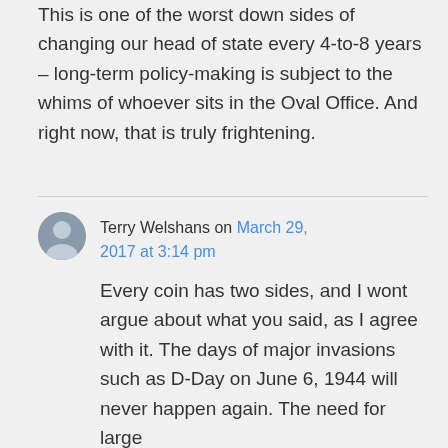This is one of the worst down sides of changing our head of state every 4-to-8 years – long-term policy-making is subject to the whims of whoever sits in the Oval Office. And right now, that is truly frightening.
Terry Welshans on March 29, 2017 at 3:14 pm
Every coin has two sides, and I wont argue about what you said, as I agree with it. The days of major invasions such as D-Day on June 6, 1944 will never happen again. The need for large...